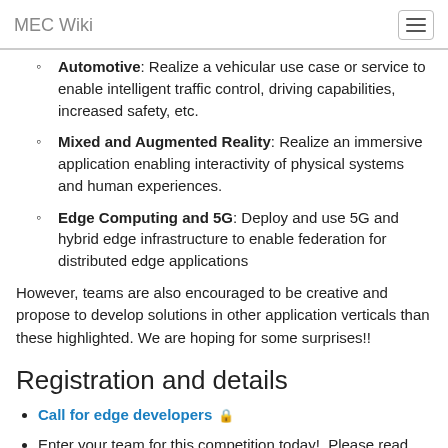MEC Wiki
Automotive: Realize a vehicular use case or service to enable intelligent traffic control, driving capabilities, increased safety, etc.
Mixed and Augmented Reality: Realize an immersive application enabling interactivity of physical systems and human experiences.
Edge Computing and 5G: Deploy and use 5G and hybrid edge infrastructure to enable federation for distributed edge applications
However, teams are also encouraged to be creative and propose to develop solutions in other application verticals than these highlighted. We are hoping for some surprises!!
Registration and details
Call for edge developers 🔒
Enter your team for this competition today!  Please read the Team Submission Guidelines 🔒 and send submissions through the application form 🔒.